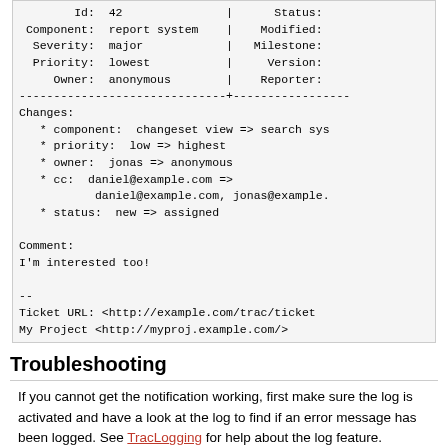Id: 42 | Status:
Component: report system | Modified:
Severity: major | Milestone:
Priority: lowest | Version:
Owner: anonymous | Reporter:
------------------------------+-----------------
Changes:
  * component:  changeset view => search sys
  * priority:  low => highest
  * owner:  jonas => anonymous
  * cc:  daniel@example.com =>
          daniel@example.com, jonas@example.
  * status:  new => assigned

Comment:
I'm interested too!

--
Ticket URL: <http://example.com/trac/ticket
My Project <http://myproj.example.com/>
Troubleshooting
If you cannot get the notification working, first make sure the log is activated and have a look at the log to find if an error message has been logged. See TracLogging for help about the log feature.
Notification errors are not reported through the web interface, so the user who submit a change or a new ticket never gets notified